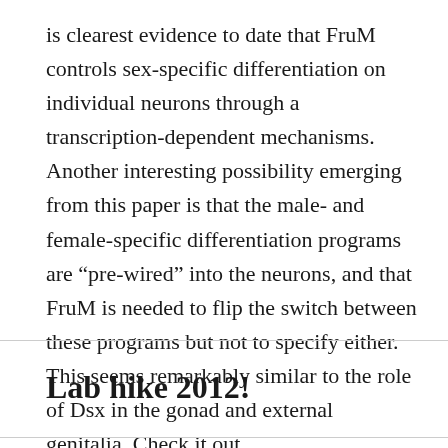is clearest evidence to date that FruM controls sex-specific differentiation on individual neurons through a transcription-dependent mechanisms.  Another interesting possibility emerging from this paper is that the male- and female-specific differentiation programs are “pre-wired” into the neurons, and that FruM is needed to flip the switch between these programs but not to specify either.  This seems remarkably similar to the role of Dsx in the gonad and external genitalia. Check it out.
Lab hike 2012!